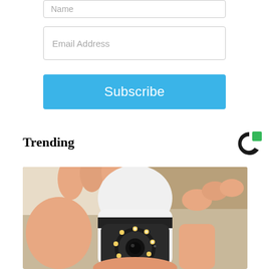Name
Email Address
Subscribe
Trending
[Figure (photo): A hand holding a white security camera shaped like a light bulb with a circular lens array and LED lights on the front.]